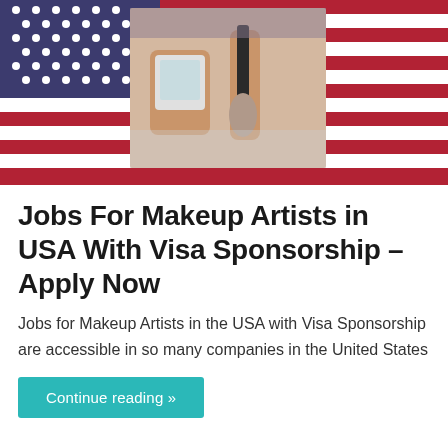[Figure (photo): Composite image: American flag in background with a close-up photo of hands holding a makeup compact and brush, depicting a makeup artist at work.]
Jobs For Makeup Artists in USA With Visa Sponsorship – Apply Now
Jobs for Makeup Artists in the USA with Visa Sponsorship are accessible in so many companies in the United States
Continue reading »